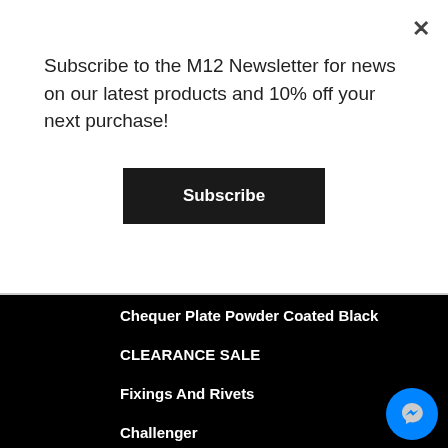Subscribe to the M12 Newsletter for news on our latest products and 10% off your next purchase!
Subscribe
Chequer Plate Powder Coated Black
CLEARANCE SALE
Fixings And Rivets
Challenger
Steering Guards
Gifts
Land Rover Chequer Plate Protection